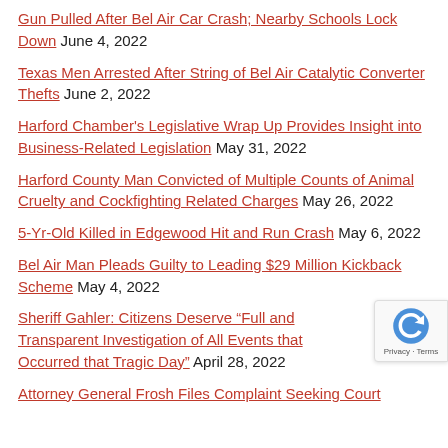Gun Pulled After Bel Air Car Crash; Nearby Schools Lock Down June 4, 2022
Texas Men Arrested After String of Bel Air Catalytic Converter Thefts June 2, 2022
Harford Chamber's Legislative Wrap Up Provides Insight into Business-Related Legislation May 31, 2022
Harford County Man Convicted of Multiple Counts of Animal Cruelty and Cockfighting Related Charges May 26, 2022
5-Yr-Old Killed in Edgewood Hit and Run Crash May 6, 2022
Bel Air Man Pleads Guilty to Leading $29 Million Kickback Scheme May 4, 2022
Sheriff Gahler: Citizens Deserve “Full and Transparent Investigation of All Events that Occurred that Tragic Day” April 28, 2022
Attorney General Frosh Files Complaint Seeking Court